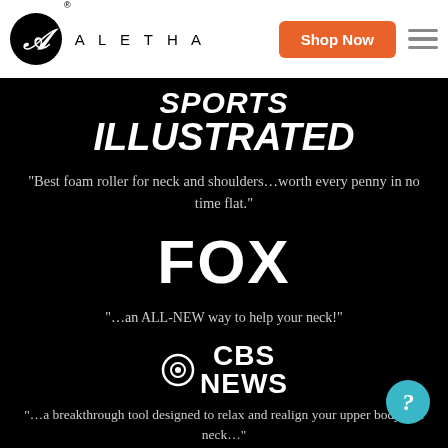[Figure (logo): Aletha brand logo: black circle with stylized 'A' and brand name ALETHA in spaced caps]
[Figure (logo): Shop Now orange button and hamburger menu icon]
[Figure (logo): Sports Illustrated logo in white bold italic serif text on black background]
“Best foam roller for neck and shoulders…worth every penny in no time flat.”
[Figure (logo): FOX logo in large bold white text on black background]
“…an ALL-NEW way to help your neck!”
[Figure (logo): CBS News logo with eye symbol and text CBS NEWS in white on black]
“…a breakthrough tool designed to relax and realign your upper body and neck…”